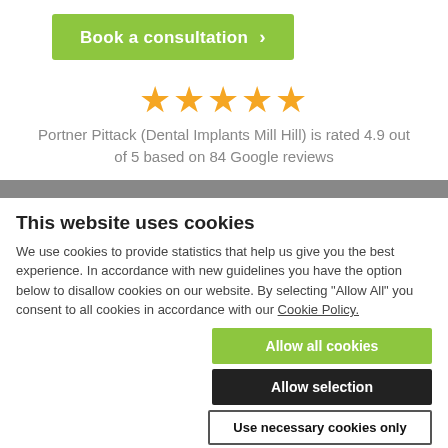[Figure (other): Green 'Book a consultation >' button]
[Figure (other): Five gold stars rating display]
Portner Pittack (Dental Implants Mill Hill) is rated 4.9 out of 5 based on 84 Google reviews
This website uses cookies
We use cookies to provide statistics that help us give you the best experience. In accordance with new guidelines you have the option below to disallow cookies on our website. By selecting "Allow All" you consent to all cookies in accordance with our Cookie Policy.
[Figure (other): Allow all cookies button (green), Allow selection button (black), Use necessary cookies only button (white with border)]
Necessary  Preferences  Statistics  Marketing  Show details